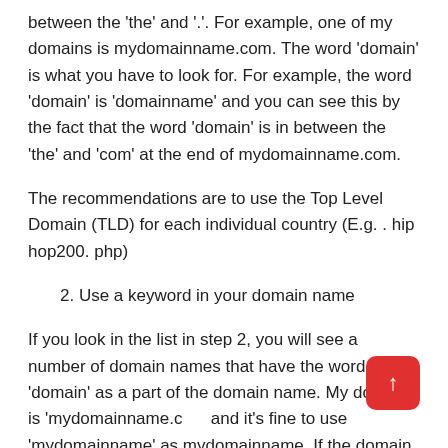between the 'the' and '.'. For example, one of my domains is mydomainname.com. The word 'domain' is what you have to look for. For example, the word 'domain' is 'domainname' and you can see this by the fact that the word 'domain' is in between the 'the' and 'com' at the end of mydomainname.com.
The recommendations are to use the Top Level Domain (TLD) for each individual country (E.g. . hip hop200. php)
2. Use a keyword in your domain name
If you look in the list in step 2, you will see a number of domain names that have the word 'domain' as a part of the domain name. My domain is 'mydomainname.com' and it's fine to use 'mydomainname' as mydomainname. If the domain is mydomainname.com, even shorter